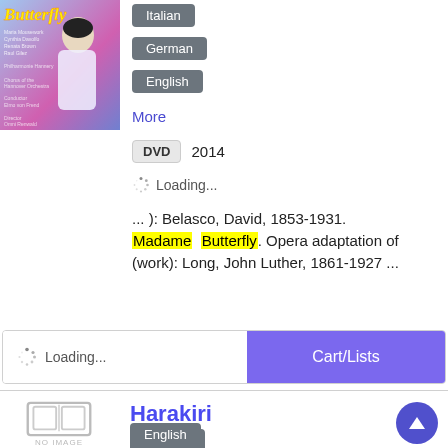[Figure (photo): Album cover for Madame Butterfly opera DVD, showing a woman in white with colorful background and yellow italic title text]
Italian
German
English
More
DVD  2014
Loading...
... ): Belasco, David, 1853-1931. Madame Butterfly. Opera adaptation of (work): Long, John Luther, 1861-1927 ...
Loading...
Cart/Lists
Harakiri
German
English